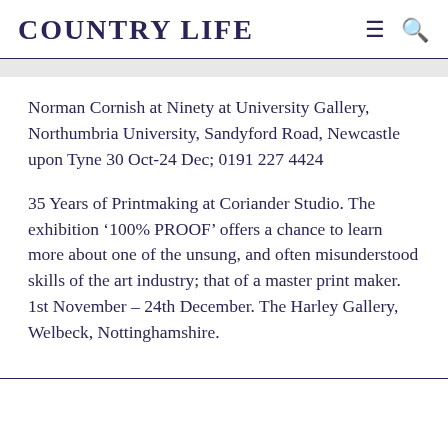COUNTRY LIFE
Norman Cornish at Ninety at University Gallery, Northumbria University, Sandyford Road, Newcastle upon Tyne 30 Oct-24 Dec; 0191 227 4424
35 Years of Printmaking at Coriander Studio. The exhibition ‘100% PROOF’ offers a chance to learn more about one of the unsung, and often misunderstood skills of the art industry; that of a master print maker. 1st November – 24th December. The Harley Gallery, Welbeck, Nottinghamshire.